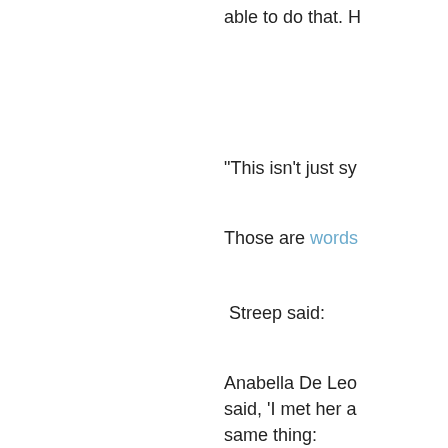able to do that. H
"This isn't just sy
Those are words
Streep said:
Anabella De Leo said, 'I met her a same thing:
'"I'm alive becau together.'
"'I'm alive becau me.'
"'I'm alive becau because I read a
"I'm here today b it. And I think eve the shadow dipl girls that she ha